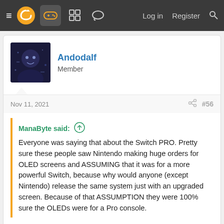≡ [logo] [gamepad icon] [grid icon] [chat icon]   Log in  Register  [search]
[Figure (photo): User avatar for Andodalf, dark sci-fi themed profile picture]
Andodalf
Member
Nov 11, 2021
#56
ManaByte said: ↑
Everyone was saying that about the Switch PRO. Pretty sure these people saw Nintendo making huge orders for OLED screens and ASSUMING that it was for a more powerful Switch, because why would anyone (except Nintendo) release the same system just with an upgraded screen. Because of that ASSUMPTION they were 100% sure the OLEDs were for a Pro console.
We 100% know as a fact Devs have had info about 4K stuff from Nintendo. We know they've invested in upscaling tech. Who on earth would assume they would put out a console that doesn't use any of that?